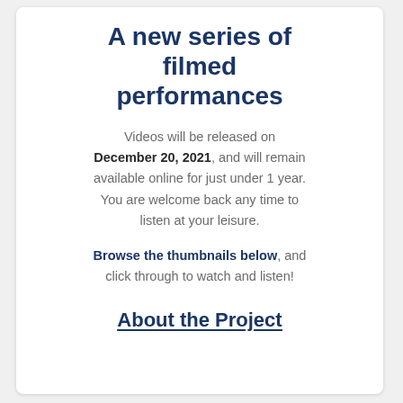A new series of filmed performances
Videos will be released on December 20, 2021, and will remain available online for just under 1 year. You are welcome back any time to listen at your leisure.
Browse the thumbnails below, and click through to watch and listen!
About the Project